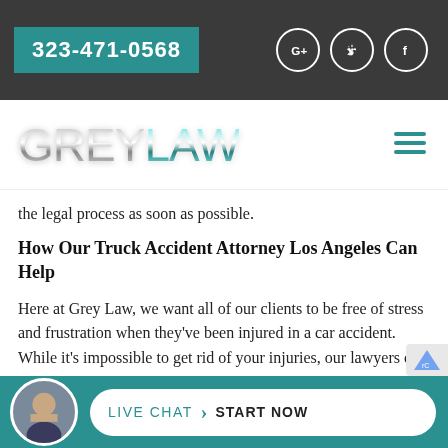323-471-0568
[Figure (logo): GREY LAW logo in metallic silver and teal letters]
the legal process as soon as possible.
How Our Truck Accident Attorney Los Angeles Can Help
Here at Grey Law, we want all of our clients to be free of stress and frustration when they've been injured in a car accident. While it's impossible to get rid of your injuries, our lawyers can help you by making the legal process straightforward one where you can just sit
[Figure (infographic): Live Chat - Start Now button bar with lawyer avatar at bottom of page]